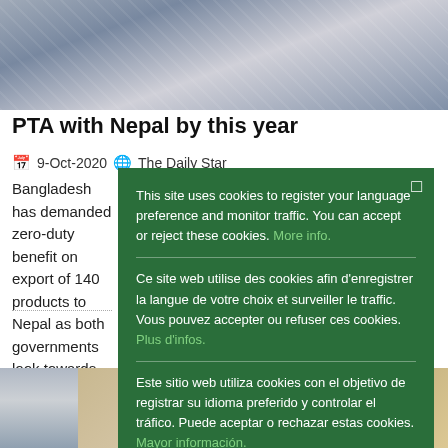[Figure (photo): Top image strip — blurred/partial photograph of industrial or textile items, muted blue-grey tones]
PTA with Nepal by this year
📅 9-Oct-2020 🌐 The Daily Star
Bangladesh has demanded zero-duty benefit on export of 140 products to Nepal as both governments look towards finalising… wee…
This site uses cookies to register your language preference and monitor traffic. You can accept or reject these cookies. More info.
Ce site web utilise des cookies afin d'enregistrer la langue de votre choix et surveiller le traffic. Vous pouvez accepter ou refuser ces cookies. Plus d'infos.
Este sitio web utiliza cookies con el objetivo de registrar su idioma preferido y controlar el tráfico. Puede aceptar o rechazar estas cookies. Mayor información.
Ok
[Figure (photo): Bottom strip of photos — left shows building facade, right shows street/market scene in warm tones]